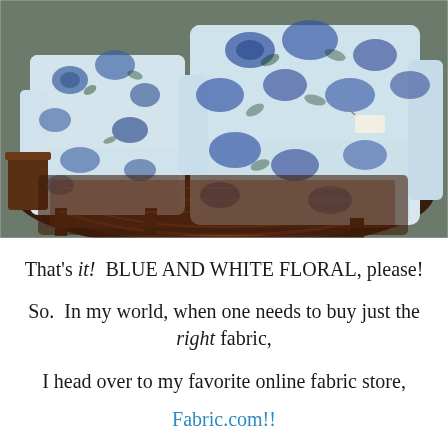[Figure (photo): Two armchairs upholstered in blue and white floral fabric, placed on a dark ornate rug in what appears to a store or showroom. A small wooden side table is visible on the left.]
That's it!  BLUE AND WHITE FLORAL, please!
So.  In my world, when one needs to buy just the right fabric,
I head over to my favorite online fabric store,
Fabric.com!!